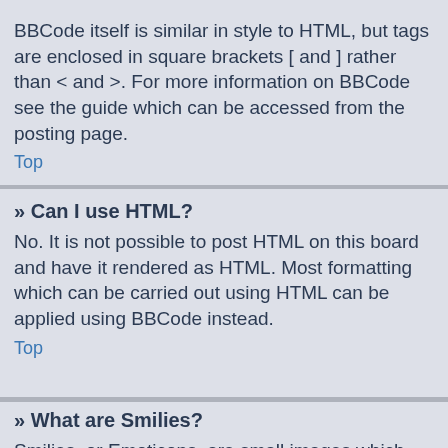BBCode itself is similar in style to HTML, but tags are enclosed in square brackets [ and ] rather than < and >. For more information on BBCode see the guide which can be accessed from the posting page.
Top
» Can I use HTML?
No. It is not possible to post HTML on this board and have it rendered as HTML. Most formatting which can be carried out using HTML can be applied using BBCode instead.
Top
» What are Smilies?
Smilies, or Emoticons, are small images which can be used to express a feeling using a short code, e.g. :) denotes happy, while :( denotes sad. The full list of emoticons can be seen in the